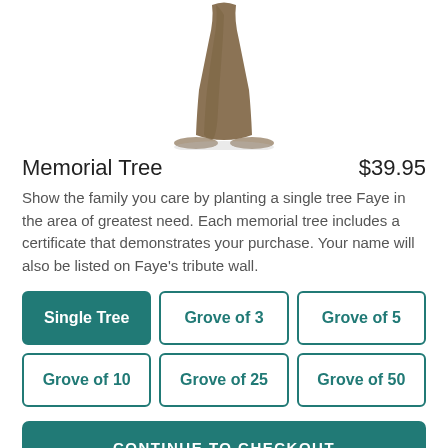[Figure (illustration): Bottom portion of a painted/illustrated tree trunk with roots, centered at top of page]
Memorial Tree
$39.95
Show the family you care by planting a single tree Faye in the area of greatest need. Each memorial tree includes a certificate that demonstrates your purchase. Your name will also be listed on Faye's tribute wall.
Single Tree (selected)
Grove of 3
Grove of 5
Grove of 10
Grove of 25
Grove of 50
CONTINUE TO CHECKOUT